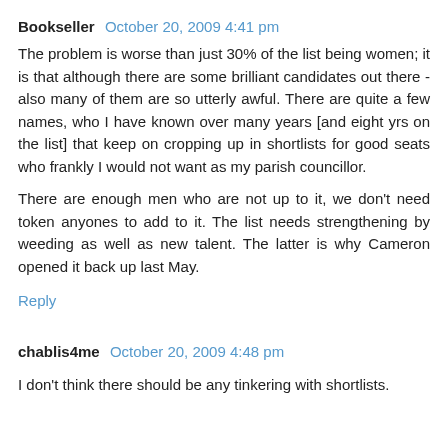Bookseller  October 20, 2009 4:41 pm
The problem is worse than just 30% of the list being women; it is that although there are some brilliant candidates out there - also many of them are so utterly awful. There are quite a few names, who I have known over many years [and eight yrs on the list] that keep on cropping up in shortlists for good seats who frankly I would not want as my parish councillor.
There are enough men who are not up to it, we don't need token anyones to add to it. The list needs strengthening by weeding as well as new talent. The latter is why Cameron opened it back up last May.
Reply
chablis4me  October 20, 2009 4:48 pm
I don't think there should be any tinkering with shortlists.